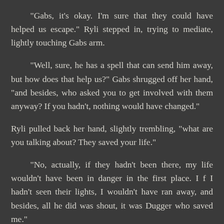"Gabs, it's okay. I'm sure that they could have helped us escape." Ryli stepped in, trying to mediate, lightly touching Gabs arm.
"Well, sure, he has a spell that can send him away, but how does that help us?" Gabs shrugged off her hand, "and besides, who asked you to get involved with them anyway? If you hadn't, nothing would have changed."
Ryli pulled back her hand, slightly trembling, "what are you talking about? They saved your life."
"No, actually, if they hadn't been there, my life wouldn't have been in danger in the first place. I f I hadn't seen their lights, I wouldn't have ran away, and besides, all he did was shout, it was Dugger who saved me."
"Dugger?"
"Yeah, he was the only one strong enough to pull me to